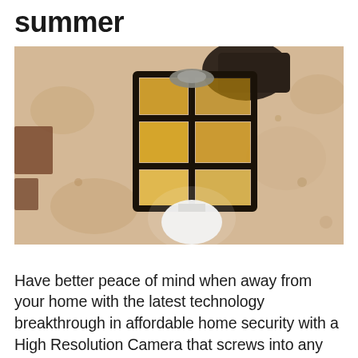summer
[Figure (photo): An outdoor wall-mounted lantern light fixture with black metal frame and amber/yellow glass panels, mounted on a textured stucco wall. A white light bulb is visible at the bottom of the fixture.]
Have better peace of mind when away from your home with the latest technology breakthrough in affordable home security with a High Resolution Camera that screws into any standard light bulb socket.